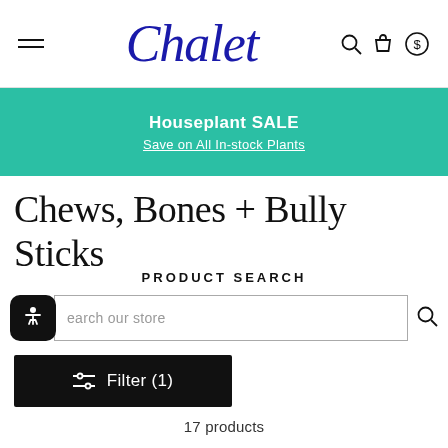Chalet — navigation header with menu, search, cart, and currency icons
Houseplant SALE
Save on All In-stock Plants
Chews, Bones + Bully Sticks
PRODUCT SEARCH
Search our store
Filter (1)
17 products